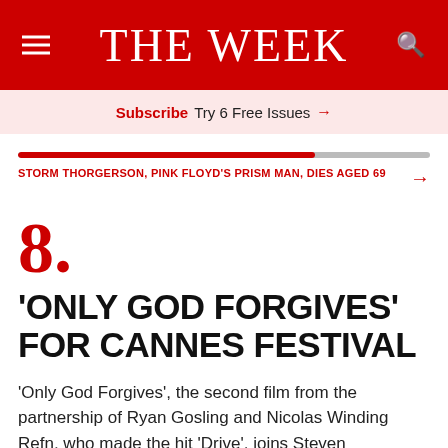THE WEEK
Subscribe Try 6 Free Issues →
STORM THORGERSON, PINK FLOYD'S PRISM MAN, DIES AGED 69
8. 'ONLY GOD FORGIVES' FOR CANNES FESTIVAL
'Only God Forgives', the second film from the partnership of Ryan Gosling and Nicolas Winding Refn, who made the hit 'Drive', joins Steven